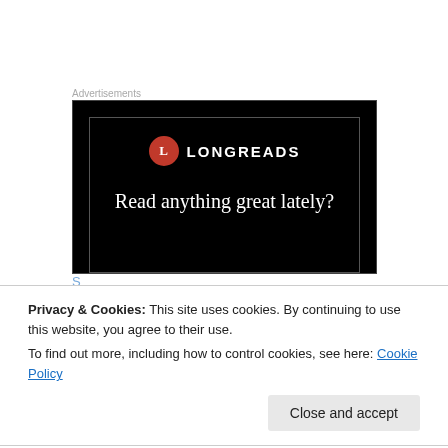Advertisements
[Figure (illustration): Longreads advertisement banner with black background, red circle L logo, white LONGREADS text, and tagline 'Read anything great lately?']
Privacy & Cookies: This site uses cookies. By continuing to use this website, you agree to their use.
To find out more, including how to control cookies, see here: Cookie Policy
Close and accept
My saving grace is I hate being ingratiated because that